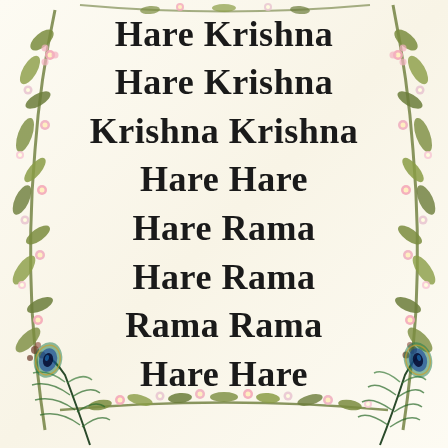[Figure (illustration): Decorative floral and peacock feather border surrounding the Hare Krishna Mahamantra text. Left and right sides have garlands of green leaves and pink/white flowers. Bottom corners have peacock feathers with teal eyes. Top has partial floral decoration.]
Hare Krishna
Hare Krishna
Krishna Krishna
Hare Hare
Hare Rama
Hare Rama
Rama Rama
Hare Hare